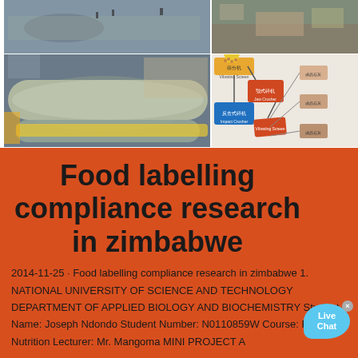[Figure (photo): Top section showing construction site photos (aerial view, mining/piping equipment) and a flow diagram of crushing/screening process with Chinese labels]
Food labelling compliance research in zimbabwe
2014-11-25 · Food labelling compliance research in zimbabwe 1. NATIONAL UNIVERSITY OF SCIENCE AND TECHNOLOGY DEPARTMENT OF APPLIED BIOLOGY AND BIOCHEMISTRY Student Name: Joseph Ndondo Student Number: N0110859W Course: Food Nutrition Lecturer: Mr. Mangoma MINI PROJECT A